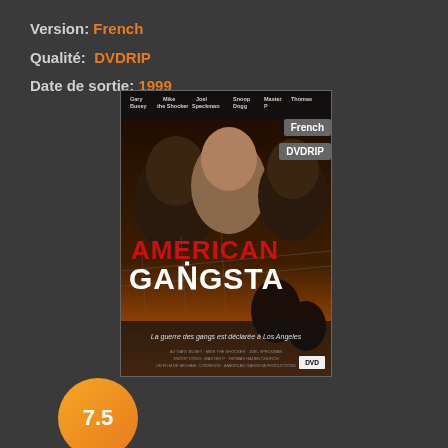Version: French
Qualité: DVDRIP
Date de sortie: 1999
[Figure (photo): Movie poster for American Gangsta (1999) showing actors Gary Busey, Mike the Shocker, Speckman, Snoop Dogg, Master P and Thomas. Text reads AMERICAN GANGSTA and La guerre des gangs est déclarée à Los Angeles. DVD logo visible. Badges for French and DVDRIP overlaid on the right side.]
7.5